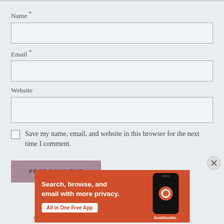Name *
Email *
Website
Save my name, email, and website in this browser for the next time I comment.
POST COMMENT
Advertisements
[Figure (screenshot): DuckDuckGo advertisement banner: orange background with text 'Search, browse, and email with more privacy. All in One Free App' and DuckDuckGo logo on a phone mockup]